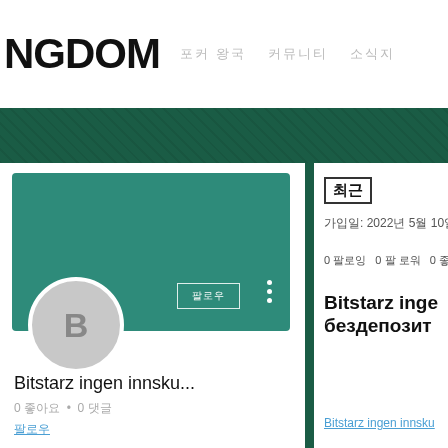NGDOM — navigation: 포커 왕국 | 커뮤니티 | 소식지
[Figure (screenshot): Green felt textured banner]
[Figure (photo): Card with teal background, avatar B, button with Korean text, three dots menu. Title: Bitstarz ingen innsku... Meta: 0 좋아요 • 0 댓글]
Bitstarz ingen innsku...
0 좋아요 • 0 댓글
팔로우
최근
가입일: 2022년 5월 10일
0 팔로잉   0 팔 로워   0 좋
Bitstarz inge бездепозит
Bitstarz ingen innsku